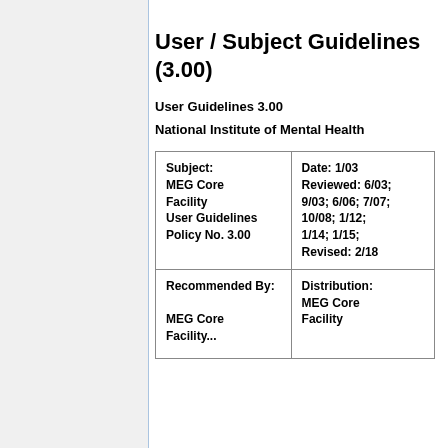User / Subject Guidelines (3.00)
User Guidelines 3.00
National Institute of Mental Health
| Subject:
MEG Core Facility
User Guidelines
Policy No. 3.00 | Date: 1/03
Reviewed: 6/03; 9/03; 6/06; 7/07; 10/08; 1/12; 1/14; 1/15;
Revised: 2/18 |
| Recommended By:
MEG Core Facility... | Distribution:
MEG Core Facility... |